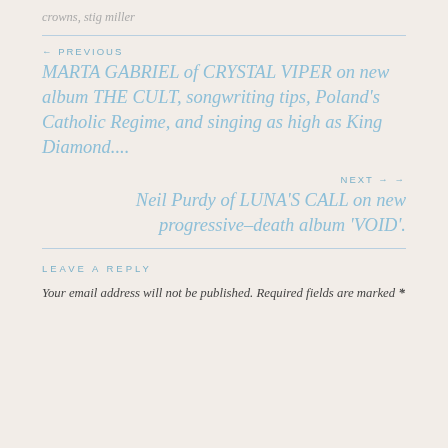crowns, stig miller
← PREVIOUS
MARTA GABRIEL of CRYSTAL VIPER on new album THE CULT, songwriting tips, Poland's Catholic Regime, and singing as high as King Diamond....
NEXT →
Neil Purdy of LUNA'S CALL on new progressive–death album 'VOID'.
LEAVE A REPLY
Your email address will not be published. Required fields are marked *